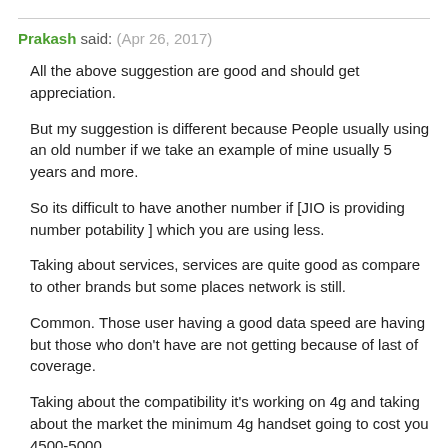Prakash said: (Apr 26, 2017)
All the above suggestion are good and should get appreciation.
But my suggestion is different because People usually using an old number if we take an example of mine usually 5 years and more.
So its difficult to have another number if [JIO is providing number potability ] which you are using less.
Taking about services, services are quite good as compare to other brands but some places network is still.
Common. Those user having a good data speed are having but those who don't have are not getting because of last of coverage.
Taking about the compatibility it's working on 4g and taking about the market the minimum 4g handset going to cost you 4500-5000.
So its not for a small scale common user who uses no internet phone.
The site...